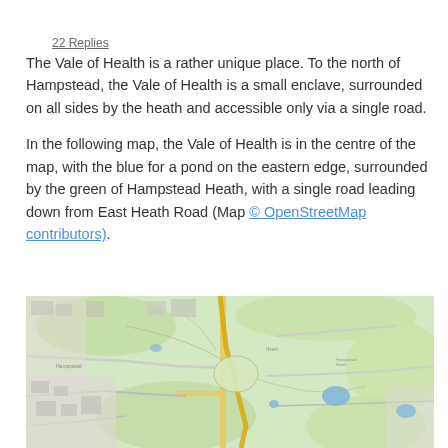22 Replies
The Vale of Health is a rather unique place. To the north of Hampstead, the Vale of Health is a small enclave, surrounded on all sides by the heath and accessible only via a single road.
In the following map, the Vale of Health is in the centre of the map, with the blue for a pond on the eastern edge, surrounded by the green of Hampstead Heath, with a single road leading down from East Heath Road (Map © OpenStreetMap contributors).
[Figure (map): OpenStreetMap showing the Vale of Health area in Hampstead, London. The map shows green areas representing Hampstead Heath surrounding the Vale of Health enclave. A blue pond is visible on the eastern edge. Roads including East Heath Road are shown. The area is predominantly green parkland with some built-up grey areas around the edges.]